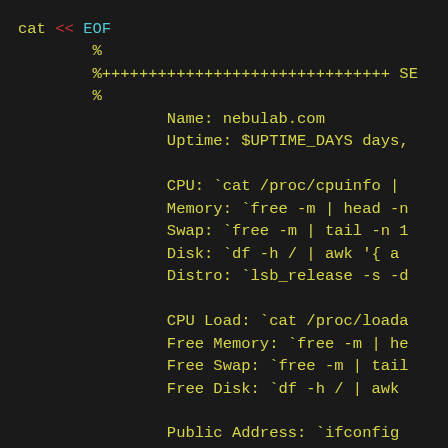cat << EOF
        %
        %+++++++++++++++++++++++++++++++ SE
        %
                Name: nebulab.com
                Uptime: $UPTIME_DAYS days,

                CPU: `cat /proc/cpuinfo |
                Memory: `free -m | head -n
                Swap: `free -m | tail -n 1
                Disk: `df -h / | awk '{ a
                Distro: `lsb_release -s -d

                CPU Load: `cat /proc/loada
                Free Memory: `free -m | he
                Free Swap: `free -m | tail
                Free Disk: `df -h / | awk

                Public Address: `ifconfig